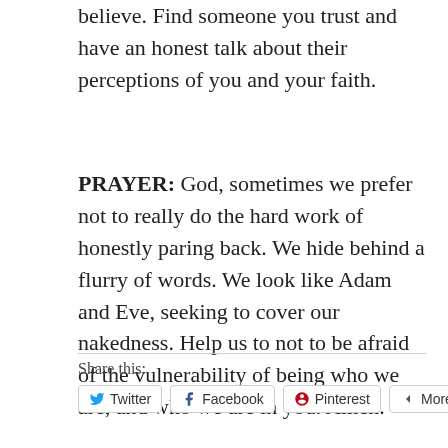believe. Find someone you trust and have an honest talk about their perceptions of you and your faith.
PRAYER: God, sometimes we prefer not to really do the hard work of honestly paring back. We hide behind a flurry of words. We look like Adam and Eve, seeking to cover our nakedness. Help us to not to be afraid of the vulnerability of being who we are, and who we are in you. Amen.
Share this:
Twitter  Facebook  Pinterest  More